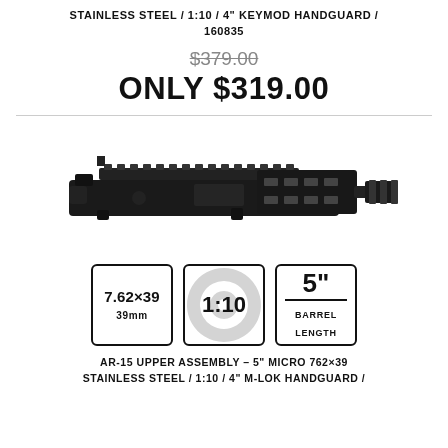STAINLESS STEEL / 1:10 / 4" KEYMOD HANDGUARD / 160835
$379.00
ONLY $319.00
[Figure (photo): AR-15 upper assembly with handguard and muzzle device, black finish, side profile view]
[Figure (infographic): Three spec badges: 7.62x39 39mm caliber, 1:10 twist rate, 5 inch barrel length]
AR-15 UPPER ASSEMBLY - 5" MICRO 762×39 STAINLESS STEEL / 1:10 / 4" M-LOK HANDGUARD /